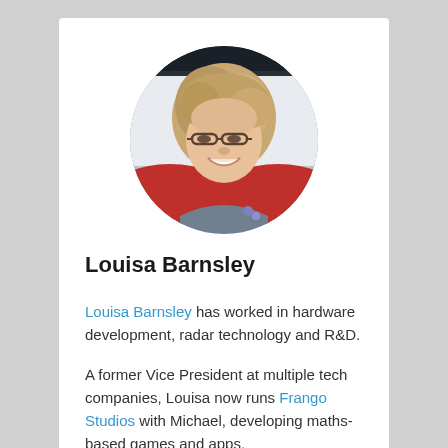[Figure (photo): Circular profile photo of Louisa Barnsley, a middle-aged woman with blonde/grey wavy hair, wearing glasses and smiling]
Louisa Barnsley
Louisa Barnsley has worked in hardware development, radar technology and R&D.
A former Vice President at multiple tech companies, Louisa now runs Frango Studios with Michael, developing maths-based games and apps.